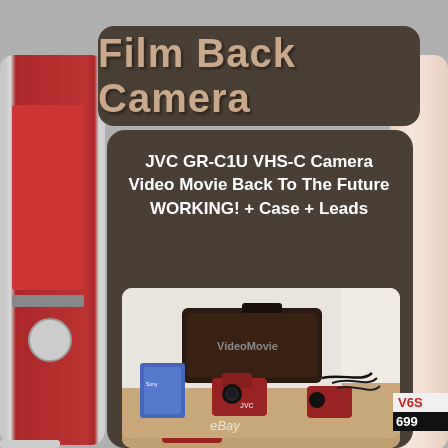Film Back Camera
JVC GR-C1U VHS-C Camera Video Movie Back To The Future WORKING! + Case + Leads
[Figure (photo): JVC GR-C1U VHS-C camcorder with VideoMovie case, accessories, leads, and tapes arranged on wooden floor. eBay watermark visible.]
[Figure (photo): Second photo showing partial view of JVC camera and case from different angle.]